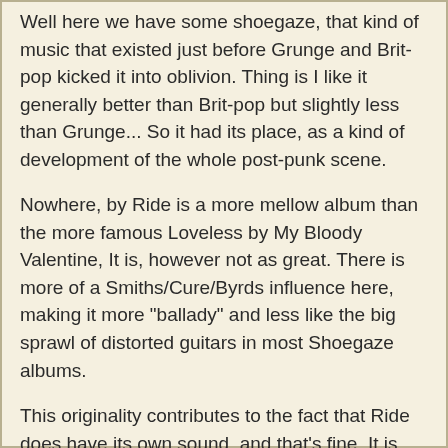Well here we have some shoegaze, that kind of music that existed just before Grunge and Brit-pop kicked it into oblivion. Thing is I like it generally better than Brit-pop but slightly less than Grunge... So it had its place, as a kind of development of the whole post-punk scene.
Nowhere, by Ride is a more mellow album than the more famous Loveless by My Bloody Valentine, It is, however not as great. There is more of a Smiths/Cure/Byrds influence here, making it more "ballady" and less like the big sprawl of distorted guitars in most Shoegaze albums.
This originality contributes to the fact that Ride does have its own sound, and that's fine. It is not, however, amazingly impressive. Nice enough and all but meh. Yes, meh.
Track Highlights
1. Paralysed
2. Seagull
3. Dreams Burn Down
4. Polar Bear